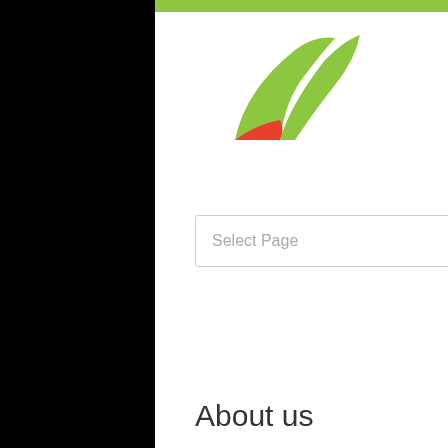[Figure (logo): Green and red stylized bird/X logo]
[Figure (other): Four language flag icons: Chinese, British (English), Spanish, Japanese]
Select Page
About us